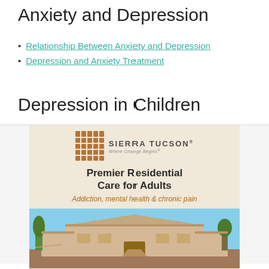Anxiety and Depression
Relationship Between Anxiety and Depression
Depression and Anxiety Treatment
Depression in Children
[Figure (photo): Sierra Tucson advertisement featuring logo, headline 'Premier Residential Care for Adults', subtext 'Addiction, mental health & chronic pain', and a photo of a Southwest-style building]
advertisement